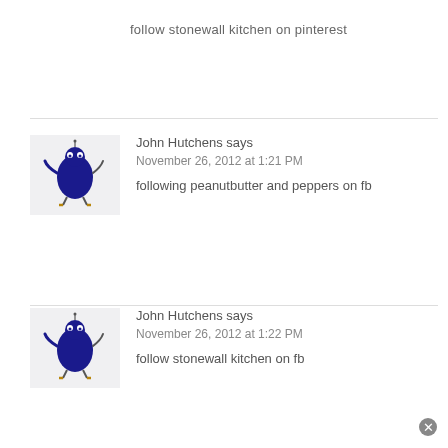follow stonewall kitchen on pinterest
[Figure (illustration): Small cartoon avatar of a dark blue oval-shaped bird-like character with small legs and outstretched wings, on a light gray background]
John Hutchens says
November 26, 2012 at 1:21 PM
following peanutbutter and peppers on fb
[Figure (illustration): Small cartoon avatar of a dark blue oval-shaped bird-like character with small legs and outstretched wings, on a light gray background]
John Hutchens says
November 26, 2012 at 1:22 PM
follow stonewall kitchen on fb